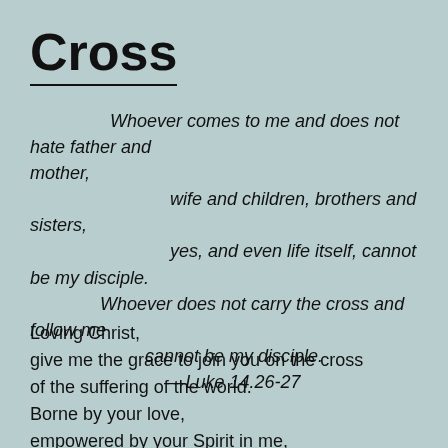Cross
Whoever comes to me and does not hate father and mother,
     wife and children, brothers and sisters,
     yes, and even life itself, cannot be my disciple.
Whoever does not carry the cross and follow me
          cannot be my disciple.
          —Luke 14.26-27
Loving Christ,
give me the grace to join you on the cross
of the suffering of the world.
Borne by your love,
empowered by your Spirit in me,